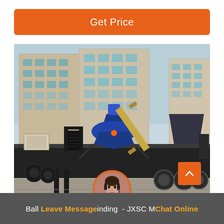Get Price
[Figure (photo): Mobile crushing plant on a flatbed truck parked in an industrial yard with multi-story buildings in background. Features a blue cone crusher and conveyor belt assembly mounted on a black heavy-duty trailer.]
Ball Leave Message inding - JXSC M Chat Online